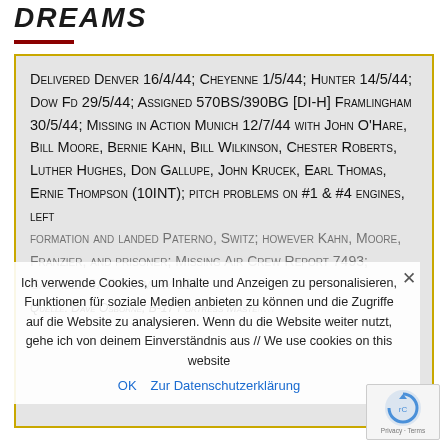DREAMS
Delivered Denver 16/4/44; Cheyenne 1/5/44; Hunter 14/5/44; Dow Fd 29/5/44; Assigned 570BS/390BG [DI-H] Framlingham 30/5/44; Missing in Action Munich 12/7/44 with John O'Hare, Bill Moore, Bernie Kahn, Bill Wilkinson, Chester Roberts, Luther Hughes, Don Gallupe, John Krucek, Earl Thomas, Ernie Thompson (10INT); pitch problems on #1 & #4 engines, left formation and landed Paterno, Switz; however Kahn, Moore, Franzier, and prisoner; Missing Air Crew Report 7493; Salvaged 9AF Germany 10/
Quelle: Dave Osborne, B-17 Fortress Master [...]
Ich verwende Cookies, um Inhalte und Anzeigen zu personalisieren, Funktionen für soziale Medien anbieten zu können und die Zugriffe auf die Website zu analysieren. Wenn du die Website weiter nutzt, gehe ich von deinem Einverständnis aus // We use cookies on this website